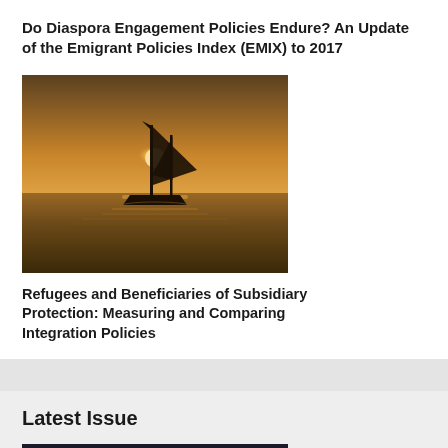Do Diaspora Engagement Policies Endure? An Update of the Emigrant Policies Index (EMIX) to 2017
[Figure (photo): Silhouette of a sailboat with two sails on the ocean at sunset, golden warm tones reflecting on the water]
Refugees and Beneficiaries of Subsidiary Protection: Measuring and Comparing Integration Policies
Latest Issue
[Figure (photo): Dark cover of a journal or publication showing text including 'Theme:', 'Challenges to Global Order', and partially visible additional text]